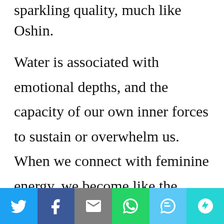sparkling quality, much like Oshin.
Water is associated with emotional depths, and the capacity of our own inner forces to sustain or overwhelm us.  When we connect with feminine energy, we become like the Greek sirens, sea-fearing creatures with wings, as they could comfortably travel in and out the depths, playing the emotional scale all the  while maintaining the ability to “fly above” and see things objectively. In the seat of feminine
Twitter | Facebook | Email | WhatsApp | SMS | More